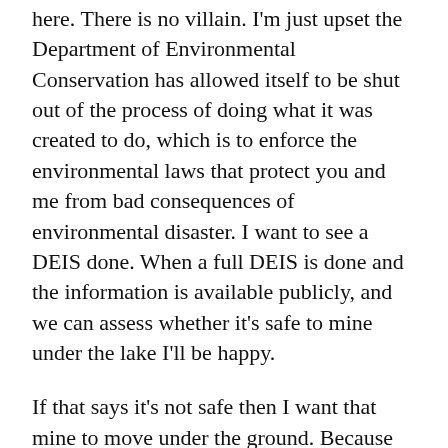here. There is no villain. I'm just upset the Department of Environmental Conservation has allowed itself to be shut out of the process of doing what it was created to do, which is to enforce the environmental laws that protect you and me from bad consequences of environmental disaster. I want to see a DEIS done. When a full DEIS is done and the information is available publicly, and we can assess whether it’s safe to mine under the lake I’ll be happy.
If that says it’s not safe then I want that mine to move under the ground. Because they have a lot of mining places where they could mine under land in the town of Lansing. Which